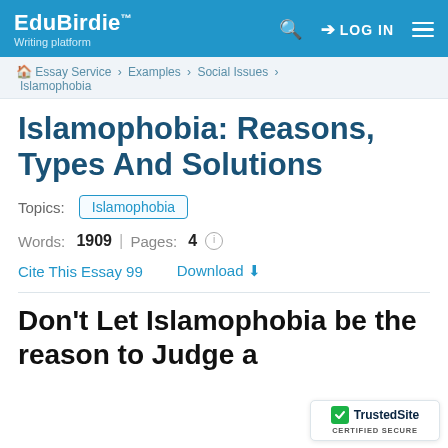EduBirdie™ Writing platform — LOG IN
🏠 Essay Service > Examples > Social Issues > Islamophobia
Islamophobia: Reasons, Types And Solutions
Topics: Islamophobia
Words: 1909 | Pages: 4
Cite This Essay 99   Download
Don't Let Islamophobia be the reason to Judge a